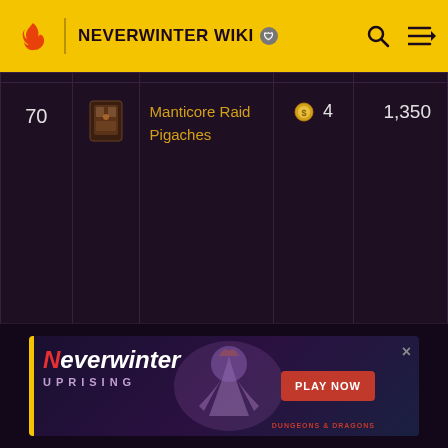NEVERWINTER WIKI
|  |  |  |  |  |
| --- | --- | --- | --- | --- |
|  |  |  |  |  |
| 70 | [icon] | Manticore Raid Pigaches | 4 | 1,350 |
[Figure (screenshot): Neverwinter Uprising game advertisement banner with Play Now button and Dungeons & Dragons logo]